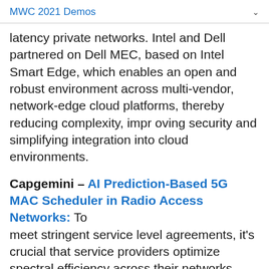MWC 2021 Demos
latency private networks. Intel and Dell partnered on Dell MEC, based on Intel Smart Edge, which enables an open and robust environment across multi-vendor, network-edge cloud platforms, thereby reducing complexity, improving security and simplifying integration into cloud environments.
Capgemini – AI Prediction-Based 5G MAC Scheduler in Radio Access Networks: To meet stringent service level agreements, it's crucial that service providers optimize spectral efficiency across their networks. Capgemini